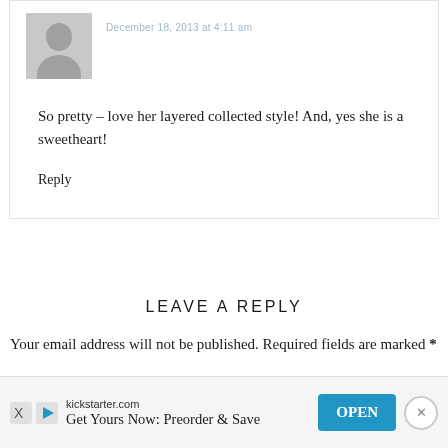December 18, 2013 at 4:11 am
So pretty – love her layered collected style! And, yes she is a sweetheart!
Reply
LEAVE A REPLY
Your email address will not be published. Required fields are marked *
[Figure (other): Advertisement banner for kickstarter.com with 'Get Yours Now: Preorder & Save' text and OPEN button]